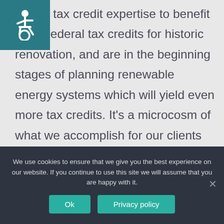[Figure (logo): Accessibility icon (wheelchair symbol) in a teal square in the top-left corner]
ed our tax credit expertise to benefit from Federal tax credits for historic renovation, and are in the beginning stages of planning renewable energy systems which will yield even more tax credits. It's a microcosm of what we accomplish for our clients every day, and we're proud to be able to preserve a beautiful building in the Greater Boston community.
We use cookies to ensure that we give you the best experience on our website. If you continue to use this site we will assume that you are happy with it.
Ok
Privacy policy